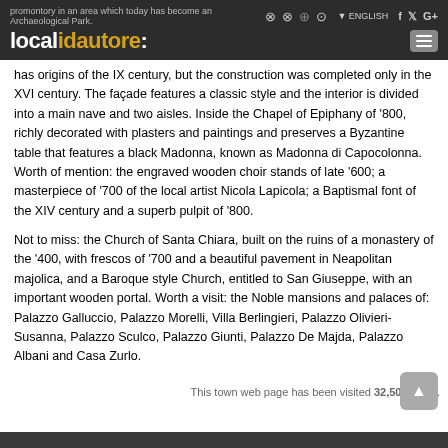localidautore — navigation header with search icons, ENGLISH language selector, social icons (Facebook, Twitter, Google+), and hamburger menu
promontory in an area which today has become an Archaeological Park. …the Cathedral… has origins of the IX century, but the construction was completed only in the XVI century. The façade features a classic style and the interior is divided into a main nave and two aisles. Inside the Chapel of Epiphany of '800, richly decorated with plasters and paintings and preserves a Byzantine table that features a black Madonna, known as Madonna di Capocolonna. Worth of mention: the engraved wooden choir stands of late '600; a masterpiece of '700 of the local artist Nicola Lapicola; a Baptismal font of the XIV century and a superb pulpit of '800.
Not to miss: the Church of Santa Chiara, built on the ruins of a monastery of the '400, with frescos of '700 and a beautiful pavement in Neapolitan majolica, and a Baroque style Church, entitled to San Giuseppe, with an important wooden portal. Worth a visit: the Noble mansions and palaces of: Palazzo Galluccio, Palazzo Morelli, Villa Berlingieri, Palazzo Olivieri-Susanna, Palazzo Sculco, Palazzo Giunti, Palazzo De Majda, Palazzo Albani and Casa Zurlo.
This town web page has been visited 32,502 times.